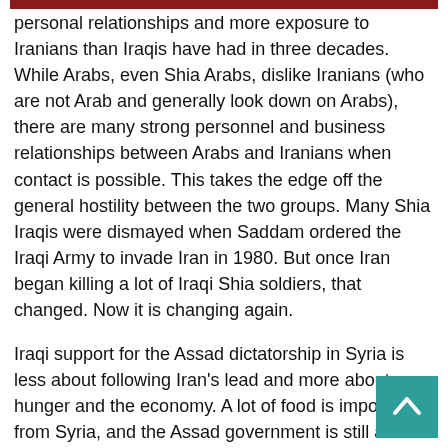personal relationships and more exposure to Iranians than Iraqis have had in three decades. While Arabs, even Shia Arabs, dislike Iranians (who are not Arab and generally look down on Arabs), there are many strong personnel and business relationships between Arabs and Iranians when contact is possible. This takes the edge off the general hostility between the two groups. Many Shia Iraqis were dismayed when Saddam ordered the Iraqi Army to invade Iran in 1980. But once Iran began killing a lot of Iraqi Shia soldiers, that changed. Now it is changing again.
Iraqi support for the Assad dictatorship in Syria is less about following Iran's lead and more about hunger and the economy. A lot of food is imported from Syria, and the Assad government is still able to stop those exports. There is a lot of trade between Iraq and Syria, and most Iraqi Sunni Arabs